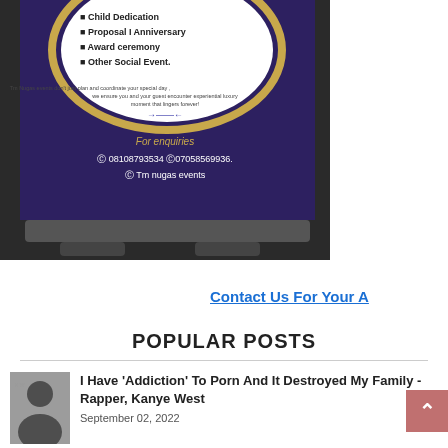[Figure (photo): A pull-up banner/rollup stand for Tm Nugas Events showing a dark purple background with gold accents. Text on the banner: bullet points listing Child Dedication, Proposal I Anniversary, Award ceremony, Other Social Event. A paragraph: 'Tm Nugas events don't just plan and coordinate your special day, we ensure you and your guest encounter experiential luxury moment that lingers forever!' with a decorative divider arrow. 'For enquiries' section with phone numbers 08108793534 and 07058569699936. and '@Tm nugas events' at the bottom. The banner is on a rollup stand base.]
Contact Us For Your A...
POPULAR POSTS
[Figure (photo): A small thumbnail photo of rapper Kanye West, showing his face and upper body in dark clothing.]
I Have 'Addiction' To Porn And It Destroyed My Family - Rapper, Kanye West
September 02, 2022